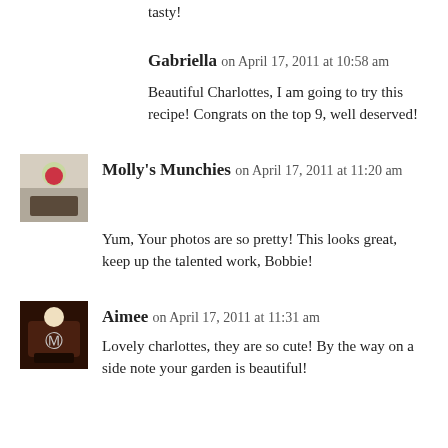tasty!
Gabriella on April 17, 2011 at 10:58 am
Beautiful Charlottes, I am going to try this recipe! Congrats on the top 9, well deserved!
Molly's Munchies on April 17, 2011 at 11:20 am
Yum, Your photos are so pretty! This looks great, keep up the talented work, Bobbie!
Aimee on April 17, 2011 at 11:31 am
Lovely charlottes, they are so cute! By the way on a side note your garden is beautiful!